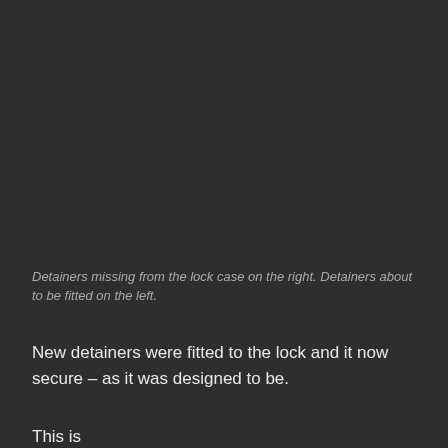Detainers missing from the lock case on the right. Detainers about to be fitted on the left.
New detainers were fitted to the lock and it now secure – as it was designed to be.
This is the beginning of the next sentence (partially visible)